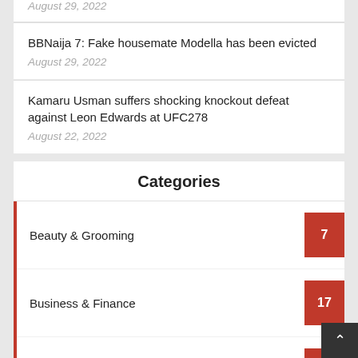August 29, 2022
BBNaija 7: Fake housemate Modella has been evicted
August 29, 2022
Kamaru Usman suffers shocking knockout defeat against Leon Edwards at UFC278
August 22, 2022
Categories
Beauty & Grooming 7
Business & Finance 17
Career & Personal Development 5
Entertainment 106